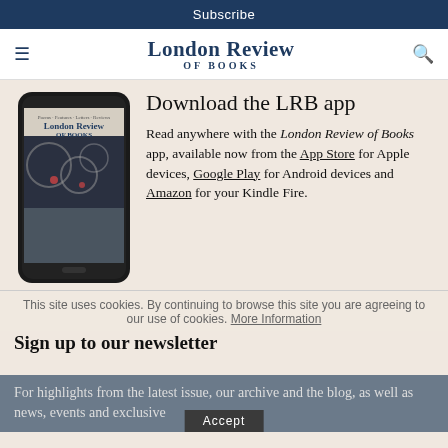Subscribe
London Review OF BOOKS
[Figure (illustration): Smartphone displaying the London Review of Books app cover with a dark artistic photograph]
Download the LRB app
Read anywhere with the London Review of Books app, available now from the App Store for Apple devices, Google Play for Android devices and Amazon for your Kindle Fire.
This site uses cookies. By continuing to browse this site you are agreeing to our use of cookies. More Information
Sign up to our newsletter
For highlights from the latest issue, our archive and the blog, as well as news, events and exclusive promotions.